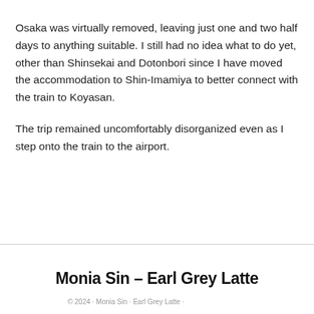Osaka was virtually removed, leaving just one and two half days to anything suitable. I still had no idea what to do yet, other than Shinsekai and Dotonbori since I have moved the accommodation to Shin-Imamiya to better connect with the train to Koyasan.
The trip remained uncomfortably disorganized even as I step onto the train to the airport.
Monia Sin – Earl Grey Latte
© 2024 · Monia Sin · Earl Grey Latte · ...